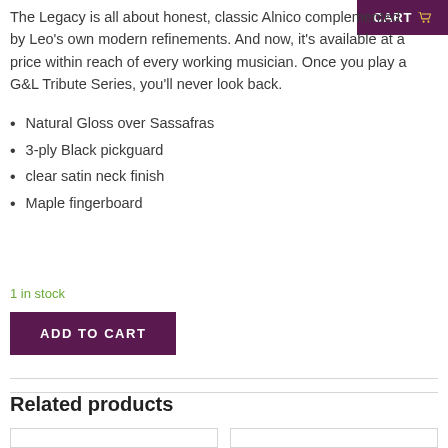CART
The Legacy is all about honest, classic Alnico complemented by Leo's own modern refinements. And now, it's available at a price within reach of every working musician. Once you play a G&L Tribute Series, you'll never look back.
Natural Gloss over Sassafras
3-ply Black pickguard
clear satin neck finish
Maple fingerboard
1 in stock
ADD TO CART
Related products